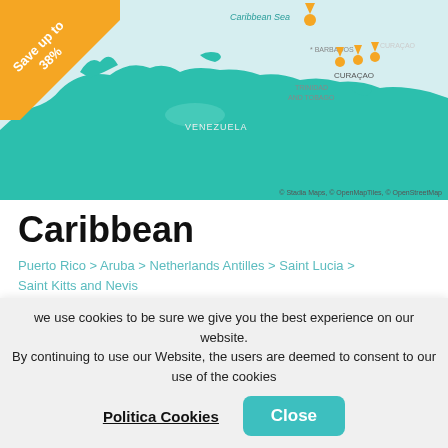[Figure (map): Caribbean map showing teal land masses including Venezuela, Curaçao, Trinidad and Tobago, and Barbados with orange location pin markers. An orange diagonal banner in the top-left reads 'Save up to 38%'. Attribution: © Stadia Maps, © OpenMapTiles, © OpenStreetMap.]
Caribbean
Puerto Rico > Aruba > Netherlands Antilles > Saint Lucia > Saint Kitts and Nevis
from €1,157
Tour Operator    Ship
we use cookies to be sure we give you the best experience on our website. By continuing to use our Website, the users are deemed to consent to our use of the cookies
Politica Cookies   Close